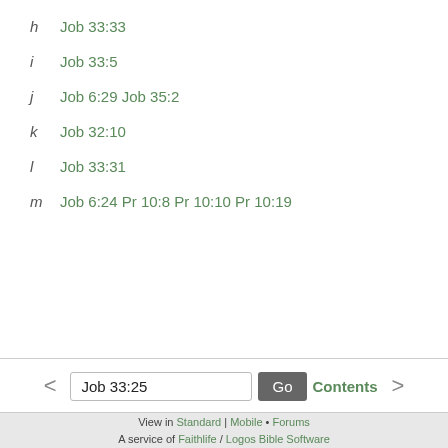h  Job 33:33
i  Job 33:5
j  Job 6:29 Job 35:2
k  Job 32:10
l  Job 33:31
m  Job 6:24 Pr 10:8 Pr 10:10 Pr 10:19
View in Standard | Mobile • Forums  A service of Faithlife / Logos Bible Software